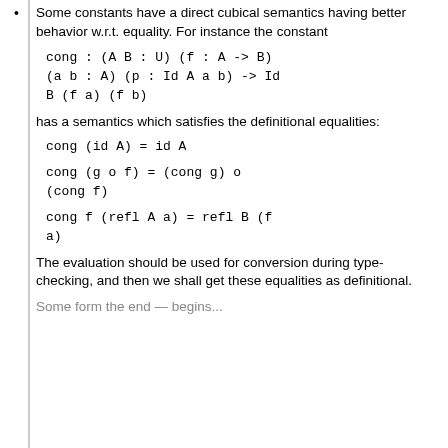Some constants have a direct cubical semantics having better behavior w.r.t. equality. For instance the constant
cong : (A B : U) (f : A -> B)
(a b : A) (p : Id A a b) -> Id
B (f a) (f b)
has a semantics which satisfies the definitional equalities:
cong (id A) = id A
cong (g o f) = (cong g) o
(cong f)
cong f (refl A a) = refl B (f
a)
The evaluation should be used for conversion during type-checking, and then we shall get these equalities as definitional.
Some form the end — begins...